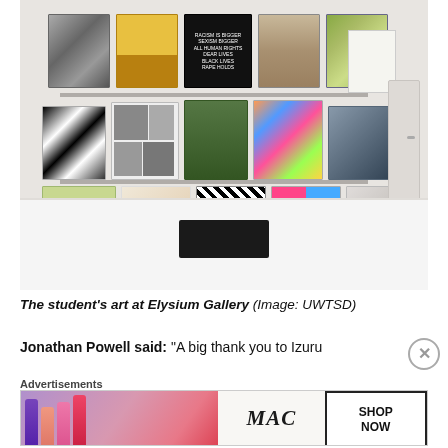[Figure (photo): Gallery wall installation showing multiple open artist books displayed on three horizontal shelves at Elysium Gallery. Books feature various artistic styles including black and white photography, colorful abstract art, illustrated works. A black box sits on a white table in the foreground. A door is visible on the right side.]
The student's art at Elysium Gallery (Image: UWTSD)
Jonathan Powell said: “A big thank you to Izuru
Advertisements
[Figure (photo): MAC Cosmetics advertisement showing colorful lipsticks, MAC logo, and SHOP NOW button]